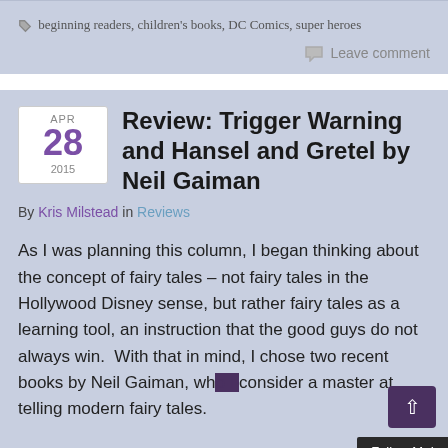beginning readers, children's books, DC Comics, super heroes
Leave comment
Review: Trigger Warning and Hansel and Gretel by Neil Gaiman
By Kris Milstead in Reviews
As I was planning this column, I began thinking about the concept of fairy tales – not fairy tales in the Hollywood Disney sense, but rather fairy tales as a learning tool, an instruction that the good guys do not always win.  With that in mind, I chose two recent books by Neil Gaiman, who I consider a master at telling modern fairy tales.